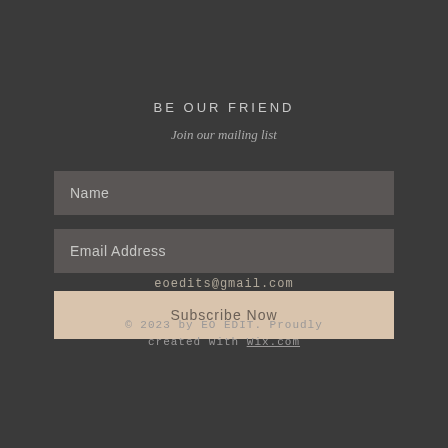BE OUR FRIEND
Join our mailing list
Name
Email Address
eoedits@gmail.com
Subscribe Now
© 2023 by EO EDIT. Proudly created with Wix.com